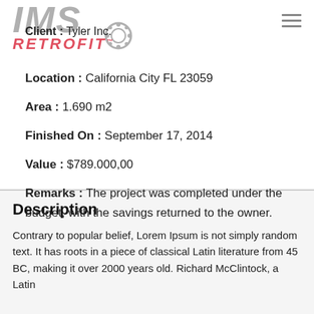[Figure (logo): IMS Retrofit logo with gear/circle icon]
Client : Tyler Inc.
Location : California City FL 23059
Area : 1.690 m2
Finished On : September 17, 2014
Value : $789.000,00
Remarks : The project was completed under the budget, with the savings returned to the owner.
Description
Contrary to popular belief, Lorem Ipsum is not simply random text. It has roots in a piece of classical Latin literature from 45 BC, making it over 2000 years old. Richard McClintock, a Latin